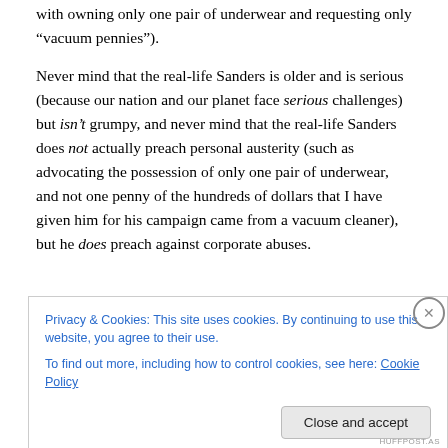with owning only one pair of underwear and requesting only “vacuum pennies”).
Never mind that the real-life Sanders is older and is serious (because our nation and our planet face serious challenges) but isn’t grumpy, and never mind that the real-life Sanders does not actually preach personal austerity (such as advocating the possession of only one pair of underwear, and not one penny of the hundreds of dollars that I have given him for his campaign came from a vacuum cleaner), but he does preach against corporate abuses.
Privacy & Cookies: This site uses cookies. By continuing to use this website, you agree to their use.
To find out more, including how to control cookies, see here: Cookie Policy